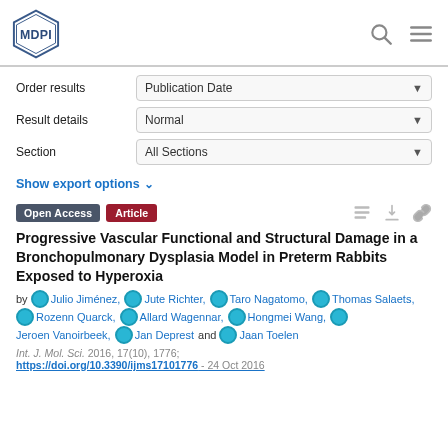MDPI
Order results: Publication Date
Result details: Normal
Section: All Sections
Show export options
Open Access  Article
Progressive Vascular Functional and Structural Damage in a Bronchopulmonary Dysplasia Model in Preterm Rabbits Exposed to Hyperoxia
by Julio Jiménez, Jute Richter, Taro Nagatomo, Thomas Salaets, Rozenn Quarck, Allard Wagennar, Hongmei Wang, Jeroen Vanoirbeek, Jan Deprest and Jaan Toelen
Int. J. Mol. Sci. 2016, 17(10), 1776;
https://doi.org/10.3390/ijms17101776 - 24 Oct 2016